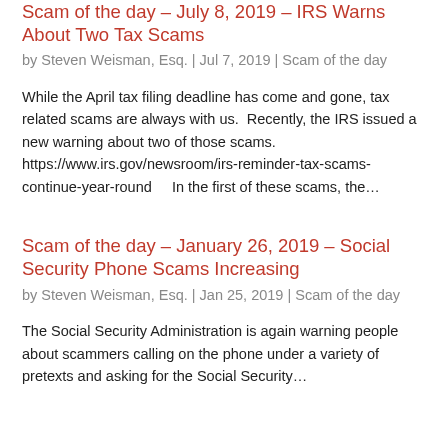Scam of the day – July 8, 2019 – IRS Warns About Two Tax Scams
by Steven Weisman, Esq. | Jul 7, 2019 | Scam of the day
While the April tax filing deadline has come and gone, tax related scams are always with us.  Recently, the IRS issued a new warning about two of those scams. https://www.irs.gov/newsroom/irs-reminder-tax-scams-continue-year-round    In the first of these scams, the…
Scam of the day – January 26, 2019 – Social Security Phone Scams Increasing
by Steven Weisman, Esq. | Jan 25, 2019 | Scam of the day
The Social Security Administration is again warning people about scammers calling on the phone under a variety of pretexts and asking for the Social Security…